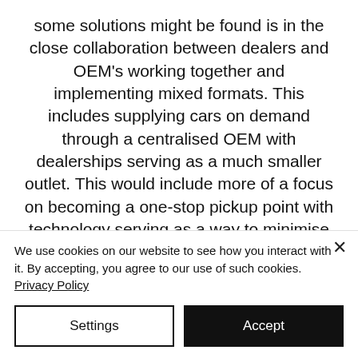some solutions might be found is in the close collaboration between dealers and OEM's working together and implementing mixed formats. This includes supplying cars on demand through a centralised OEM with dealerships serving as a much smaller outlet. This would include more of a focus on becoming a one-stop pickup point with technology serving as a way to minimise necessary stock
We use cookies on our website to see how you interact with it. By accepting, you agree to our use of such cookies. Privacy Policy